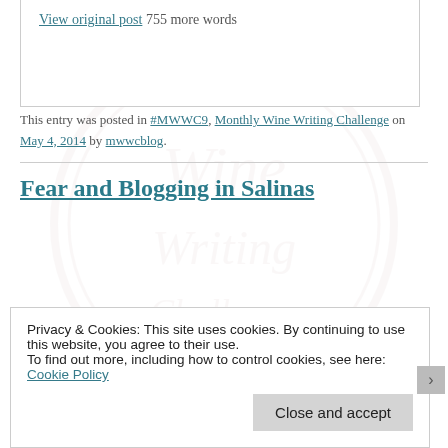View original post 755 more words
This entry was posted in #MWWC9, Monthly Wine Writing Challenge on May 4, 2014 by mwwcblog.
Fear and Blogging in Salinas
Privacy & Cookies: This site uses cookies. By continuing to use this website, you agree to their use.
To find out more, including how to control cookies, see here: Cookie Policy
Close and accept